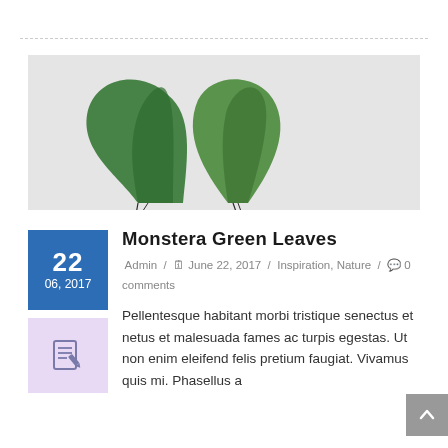[Figure (photo): Two large monstera green leaves against a light grey background, stems crossing]
Monstera Green Leaves
Admin / June 22, 2017 / Inspiration, Nature / 0 comments
[Figure (illustration): Edit/document icon in a lavender box]
Pellentesque habitant morbi tristique senectus et netus et malesuada fames ac turpis egestas. Ut non enim eleifend felis pretium faugiat. Vivamus quis mi. Phasellus a